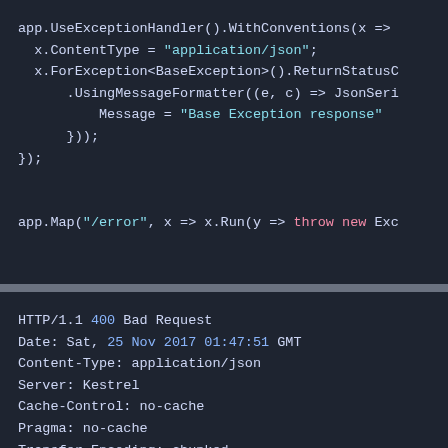[Figure (screenshot): Code editor screenshot showing C# exception handler middleware configuration code with dark theme. app.UseExceptionHandler().WithConventions(x => { x.ContentType = "application/json"; x.ForException<BaseException>().ReturnStatusC... .UsingMessageFormatter((e, c) => JsonSeri... Message = "Base Exception response" })); }); app.Map("/error", x => x.Run(y => throw new Exc...]
[Figure (screenshot): HTTP response screenshot with dark theme showing: HTTP/1.1 400 Bad Request, Date: Sat, 25 Nov 2017 01:47:51 GMT, Content-Type: application/json, Server: Kestrel, Cache-Control: no-cache, Pragma: no-cache, Transfer-Encoding: chunked, Expires: -1]